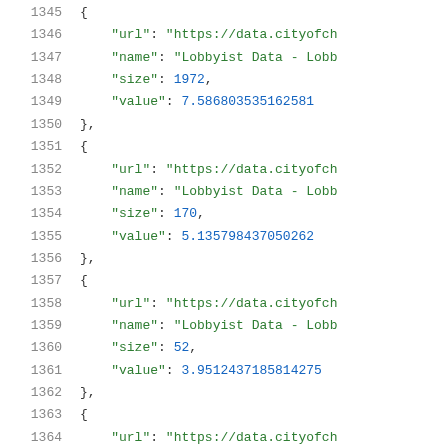Code listing lines 1345-1367 showing JSON data with url, name, size, and value fields for Lobbyist Data entries